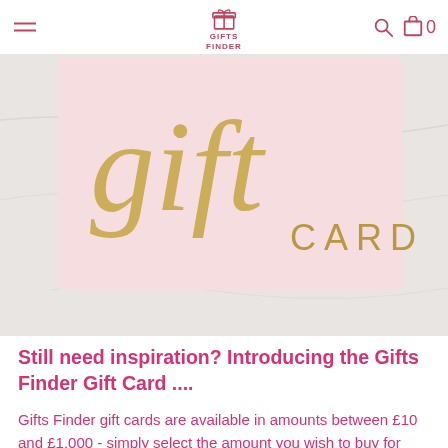GIFTS FINDER
[Figure (photo): A pink gift card with gold cursive 'gift' script text and 'CARD' printed in gold capital letters, placed on a white marble surface.]
Still need inspiration? Introducing the Gifts Finder Gift Card ....
Gifts Finder gift cards are available in amounts between £10 and £1,000 - simply select the amount you wish to buy for them